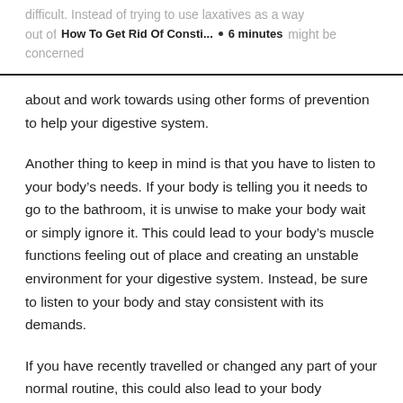How To Get Rid Of Consti... · 6 minutes
about and work towards using other forms of prevention to help your digestive system.
Another thing to keep in mind is that you have to listen to your body's needs. If your body is telling you it needs to go to the bathroom, it is unwise to make your body wait or simply ignore it. This could lead to your body's muscle functions feeling out of place and creating an unstable environment for your digestive system. Instead, be sure to listen to your body and stay consistent with its demands.
If you have recently travelled or changed any part of your normal routine, this could also lead to your body becoming constipated. This is due to the fact that